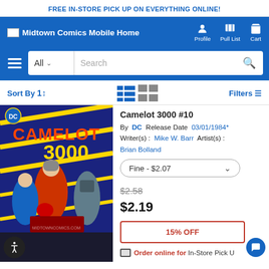FREE IN-STORE PICK UP ON EVERYTHING ONLINE!
[Figure (screenshot): Midtown Comics mobile website navigation bar with logo, Profile, Pull List, and Cart icons]
[Figure (screenshot): Search bar with hamburger menu, All category dropdown, Search input, and magnifier button]
Sort By  |  view toggle (list/grid)  |  Filters
[Figure (photo): Comic book cover of Camelot 3000 #10 showing armored heroes in action scene, published by DC Comics, midtowncomics.com watermark]
Camelot 3000 #10
By DC  Release Date  03/01/1984*
Writer(s) :  Mike W. Barr  Artist(s) :
Brian Bolland
Fine - $2.07
$2.58
$2.19
15% OFF
Order online for In-Store Pick Up